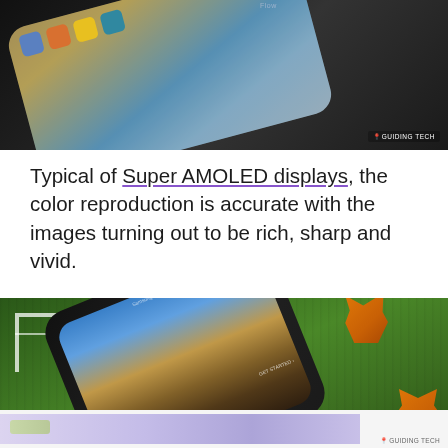[Figure (photo): Samsung Galaxy Note 8 smartphone photographed from above on a dark wooden surface, showing the home screen with app icons. Guiding Tech watermark in bottom right.]
Typical of Super AMOLED displays, the color reproduction is accurate with the images turning out to be rich, sharp and vivid.
[Figure (photo): Samsung Galaxy Note 8 smartphone lying on artificial green grass next to small orange dinosaur toy figurines, showing the device specifications screen. Guiding Tech watermark in bottom right.]